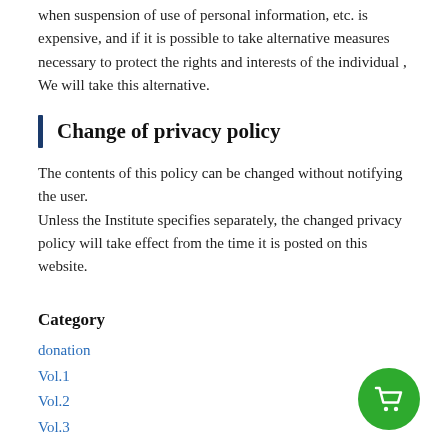when suspension of use of personal information, etc. is expensive, and if it is possible to take alternative measures necessary to protect the rights and interests of the individual , We will take this alternative.
Change of privacy policy
The contents of this policy can be changed without notifying the user.
Unless the Institute specifies separately, the changed privacy policy will take effect from the time it is posted on this website.
Category
donation
Vol.1
Vol.2
Vol.3
[Figure (illustration): Green circular shopping cart button icon]